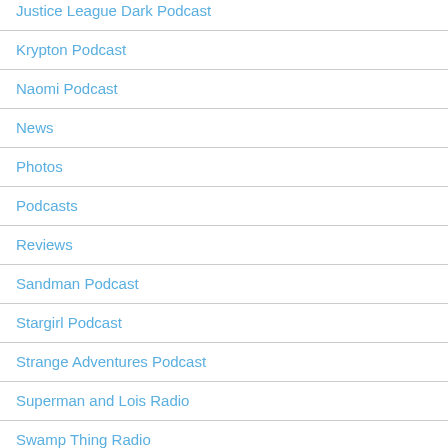Justice League Dark Podcast
Krypton Podcast
Naomi Podcast
News
Photos
Podcasts
Reviews
Sandman Podcast
Stargirl Podcast
Strange Adventures Podcast
Superman and Lois Radio
Swamp Thing Radio